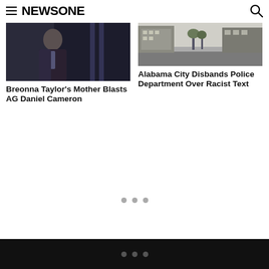NEWSONE
[Figure (photo): Man in suit standing in front of American flags and dark curtain backdrop]
Breonna Taylor’s Mother Blasts AG Daniel Cameron
[Figure (photo): Empty city street in Alabama]
Alabama City Disbands Police Department Over Racist Text